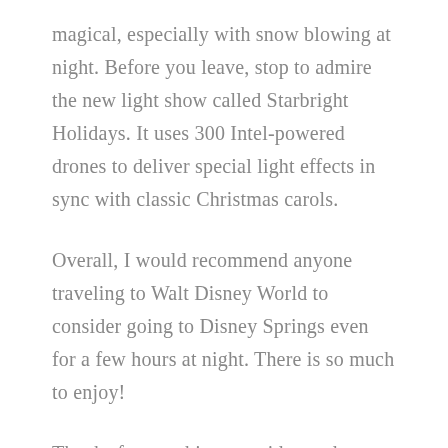magical, especially with snow blowing at night. Before you leave, stop to admire the new light show called Starbright Holidays. It uses 300 Intel-powered drones to deliver special light effects in sync with classic Christmas carols.
Overall, I would recommend anyone traveling to Walt Disney World to consider going to Disney Springs even for a few hours at night. There is so much to enjoy!
Thanks for watching my video and reading my post! I have more Disney videos and tips here.
Note: I was invited here as a participant by Disney to...